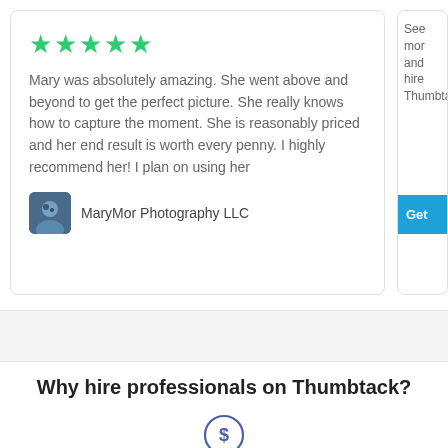[Figure (other): Five green star rating icons]
Mary was absolutely amazing. She went above and beyond to get the perfect picture. She really knows how to capture the moment. She is reasonably priced and her end result is worth every penny. I highly recommend her! I plan on using her
[Figure (photo): Small profile photo thumbnail of MaryMor Photography LLC]
MaryMor Photography LLC
See mor and hire Thumbta
Get
Why hire professionals on Thumbtack?
[Figure (illustration): Dollar sign circle icon]